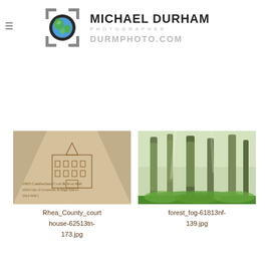Michael Durham Photographer – durmphoto.com
[Figure (photo): Rhea County courthouse sidewalk engraving/etching photo]
Rhea_County_court house-62513tn-173.jpg
[Figure (photo): Misty forest with tall trees and green undergrowth]
forest_fog-61813nf-139.jpg